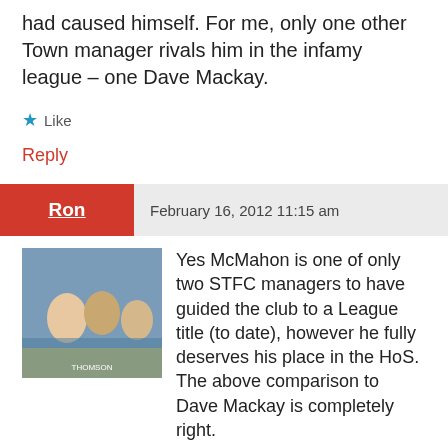had caused himself. For me, only one other Town manager rivals him in the infamy league – one Dave Mackay.
★ Like
Reply
Ron   February 16, 2012 11:15 am
[Figure (photo): Avatar photo of commenter Ron showing a group of people]
Yes McMahon is one of only two STFC managers to have guided the club to a League title (to date), however he fully deserves his place in the HoS. The above comparison to Dave Mackay is completely right. Both ripped apart successful / strong squads for different reasons, but in Macca's case his destruction went right to the heart and to some extent the club has only started to recover since Fitton & co. took over. Anyone who pays money for Bobby Howe...